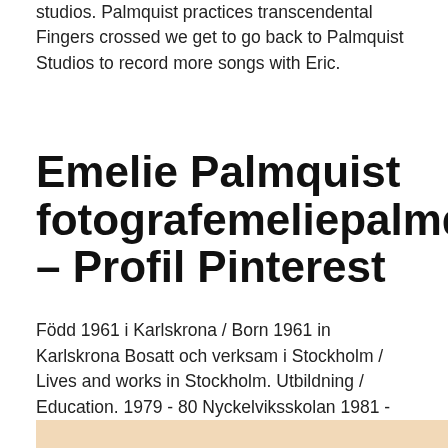studios. Palmquist practices transcendental Fingers crossed we get to go back to Palmquist Studios to record more songs with Eric.
Emelie Palmquist fotografemeliepalmquist – Profil Pinterest
Född 1961 i Karlskrona / Born 1961 in Karlskrona Bosatt och verksam i Stockholm / Lives and works in Stockholm. Utbildning / Education. 1979 - 80 Nyckelviksskolan 1981 - 83 Gerlesborgsskolan 1986 - 91 Forum Malmö.
[Figure (other): Bottom edge of a warm-toned image strip, peach/beige color]